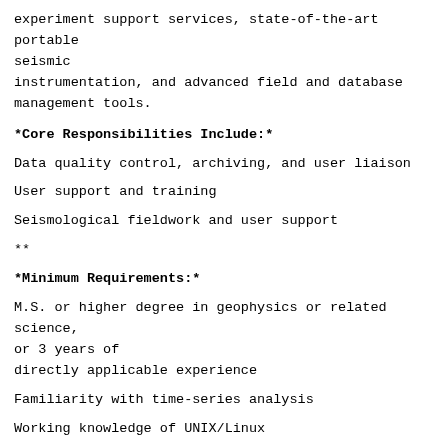experiment support services, state-of-the-art portable seismic
instrumentation, and advanced field and database management tools.
*Core Responsibilities Include:*
Data quality control, archiving, and user liaison
User support and training
Seismological fieldwork and user support
**
*Minimum Requirements:*
M.S. or higher degree in geophysics or related science, or 3 years of
directly applicable experience
Familiarity with time-series analysis
Working knowledge of UNIX/Linux
Demonstrated knowledge of scripting languages (e.g. bash, tcsh, Python)
*Desired Qualifications:*